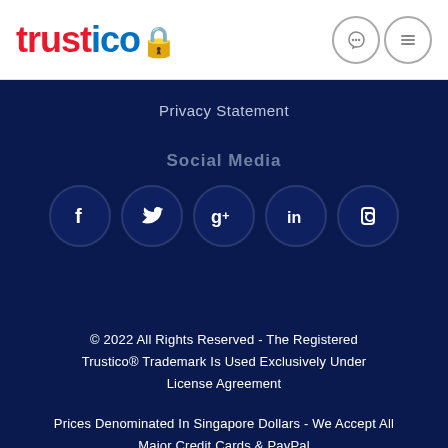[Figure (logo): Trustico logo with 'trust' in red and 'ico' in blue, with a lock icon integrated]
[Figure (other): Phone icon and hamburger menu icon in circles on the top right]
Privacy Statement
Social Media
[Figure (other): Row of 5 social media icon circles: Facebook (f), Twitter (bird), Google+ (g+), LinkedIn (in), Blogger (b)]
© 2022 All Rights Reserved - The Registered Trustico® Trademark Is Used Exclusively Under License Agreement
Prices Denominated In Singapore Dollars - We Accept All Major Credit Cards & PayPal